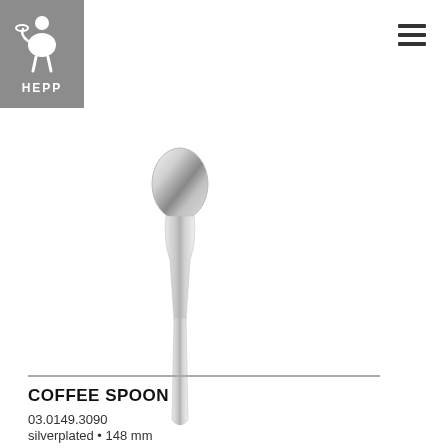[Figure (logo): HEPP brand logo: grey square background with white icon of a waiter/server figure holding a tray, with 'HEPP' text below in white bold letters]
[Figure (photo): A silver coffee spoon photographed vertically against a white background. The spoon has an oval bowl at the top and a slender tapered handle. It is silverplated and shiny.]
COFFEE SPOON
03.0149.3090
silverplated • 148 mm